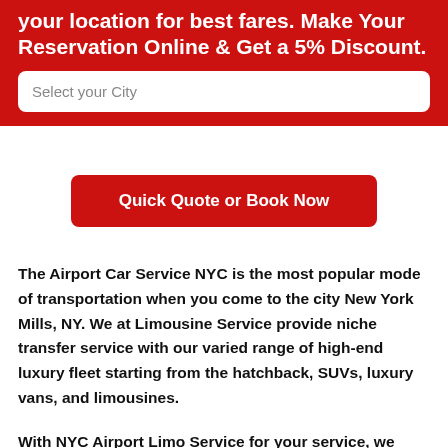your location for best fares. Make Your Reservation Online & Get a 5% Discount.
Select your City
Quick Quote or Book Now
The Airport Car Service NYC is the most popular mode of transportation when you come to the city New York Mills, NY. We at Limousine Service provide niche transfer service with our varied range of high-end luxury fleet starting from the hatchback, SUVs, luxury vans, and limousines.
With NYC Airport Limo Service for your service, we